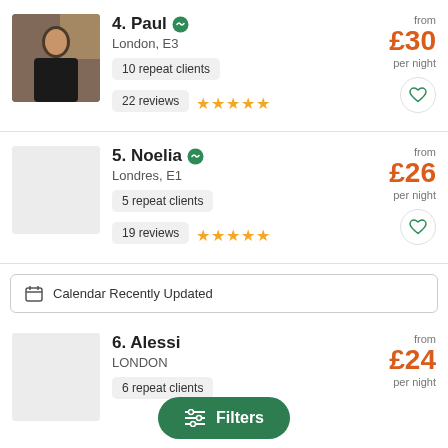[Figure (photo): Profile photo of Paul, a man in a dark jacket indoors]
4. Paul
London, E3
10 repeat clients
22 reviews ★★★★★
from £30 per night
5. Noelia
Londres, E1
5 repeat clients
19 reviews ★★★★★
from £26 per night
Calendar Recently Updated
6. Alessi
LONDON
6 repeat clients
from £24 per night
Filters